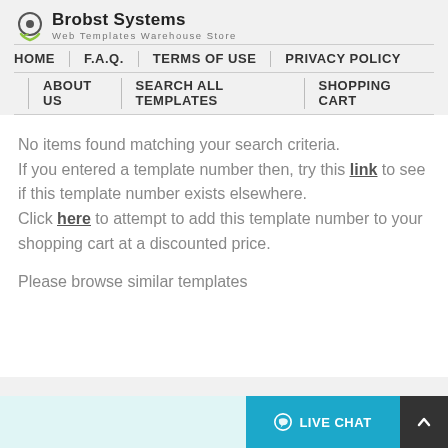Brobst Systems — Web Templates Warehouse Store
HOME | F.A.Q. | TERMS OF USE | PRIVACY POLICY | ABOUT US | SEARCH ALL TEMPLATES | SHOPPING CART
No items found matching your search criteria. If you entered a template number then, try this link to see if this template number exists elsewhere. Click here to attempt to add this template number to your shopping cart at a discounted price.
Please browse similar templates